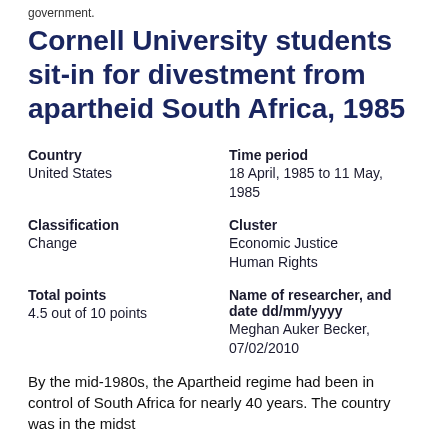government.
Cornell University students sit-in for divestment from apartheid South Africa, 1985
| Country | Time period |
| United States | 18 April, 1985 to 11 May, 1985 |
| Classification | Cluster |
| Change | Economic Justice
Human Rights |
| Total points | Name of researcher, and date dd/mm/yyyy |
| 4.5 out of 10 points | Meghan Auker Becker, 07/02/2010 |
By the mid-1980s, the Apartheid regime had been in control of South Africa for nearly 40 years. The country was in the midst